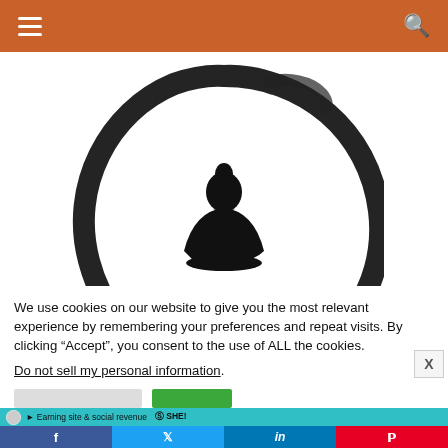Navigation bar with hamburger menu and search icon
[Figure (illustration): Zen enso circle (brushstroke circle) with a silhouetted meditating Buddha figure in the center, black on white background]
We use cookies on our website to give you the most relevant experience by remembering your preferences and repeat visits. By clicking “Accept”, you consent to the use of ALL the cookies.
Do not sell my personal information.
[Figure (screenshot): Cookie consent buttons: grey reject button and green Accept button]
[Figure (screenshot): SHE media logo bar in teal/cyan color]
Social share bar: Facebook, Twitter, LinkedIn, Pinterest